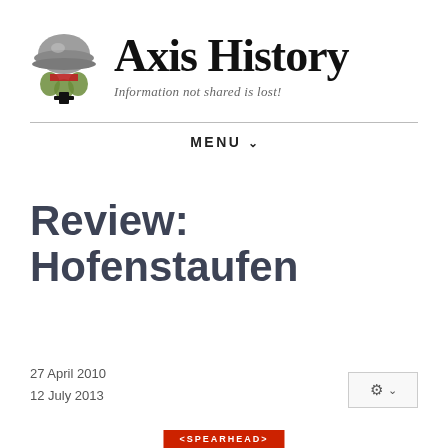[Figure (logo): Axis History website logo: WWII German helmet with military insignia and iron cross badge]
Axis History
Information not shared is lost!
MENU ∨
Review: Hofenstaufen
27 April 2010
12 July 2013